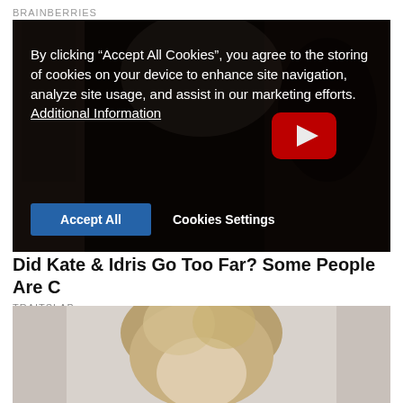BRAINBERRIES
[Figure (photo): Video thumbnail showing two people in a dramatic scene, partially visible behind a dark overlay. A YouTube play button is visible in the center-right area.]
By clicking "Accept All Cookies", you agree to the storing of cookies on your device to enhance site navigation, analyze site usage, and assist in our marketing efforts. Additional Information
Accept All    Cookies Settings
Did Kate & Idris Go Too Far? Some People Are C...
TRAITSLAB
[Figure (photo): Partial photo of a person with blonde hair, visible from the neck up, light grey background.]